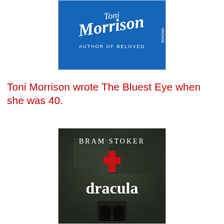[Figure (photo): Book cover for a Toni Morrison novel – blue background with author's signature 'Morrison' and text 'AUTHOR OF BELOVED']
Toni Morrison wrote The Bluest Eye when she was 40.
[Figure (photo): Book cover for Dracula by Bram Stoker – dark, moody background showing a gothic doorway with a red cross and white gothic lettering reading 'dracula']